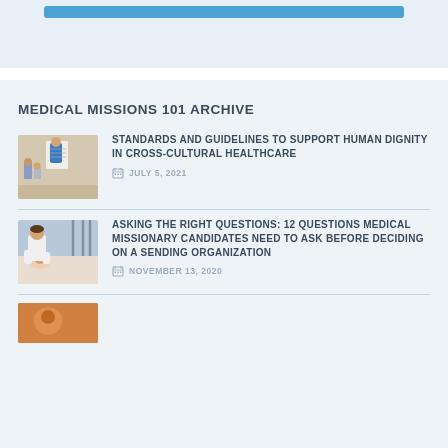[Figure (other): Blue progress/button bar at top of page]
MEDICAL MISSIONS 101 ARCHIVE
[Figure (photo): Healthcare worker presenting to people in a clinical setting]
STANDARDS AND GUIDELINES TO SUPPORT HUMAN DIGNITY IN CROSS-CULTURAL HEALTHCARE
JULY 5, 2021
[Figure (photo): Medical professional examining a patient in a bed]
ASKING THE RIGHT QUESTIONS: 12 QUESTIONS MEDICAL MISSIONARY CANDIDATES NEED TO ASK BEFORE DECIDING ON A SENDING ORGANIZATION
NOVEMBER 13, 2020
[Figure (photo): Partial thumbnail of a third article, orange/warm tones]